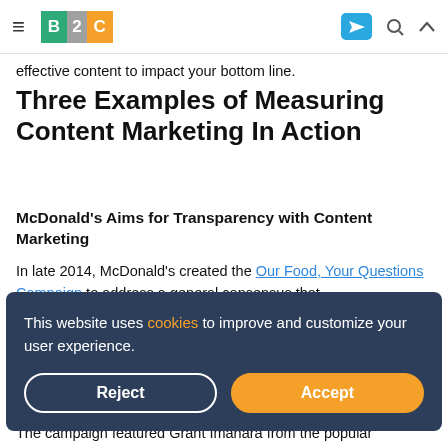B2C [logo navigation bar with hamburger menu, send icon, search icon, up icon]
effective content to impact your bottom line.
Three Examples of Measuring Content Marketing In Action
McDonald's Aims for Transparency with Content Marketing
In late 2014, McDonald's created the Our Food, Your Questions Campaign to address a general consensus that
This website uses cookies to improve and customize your user experience.
The campaign featured Grant Imahara from the popular